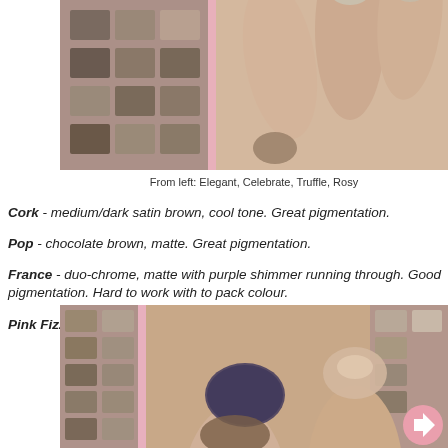[Figure (photo): Close-up of fingers with eyeshadow swatches over a makeup palette with brown and neutral shades in a pink frame - top image showing four swatches labeled Elegant, Celebrate, Truffle, Rosy]
From left: Elegant, Celebrate, Truffle, Rosy
Cork - medium/dark satin brown, cool tone. Great pigmentation.
Pop - chocolate brown, matte. Great pigmentation.
France - duo-chrome, matte with purple shimmer running through. Good pigmentation. Hard to work with to pack colour.
Pink Fizz - pink champagne shimmer. Good pigmentation.
[Figure (photo): Close-up of fingers with eyeshadow swatches showing Cork (brown), France (dark purple/duo-chrome), and Pink Fizz (champagne shimmer) over the makeup palette]